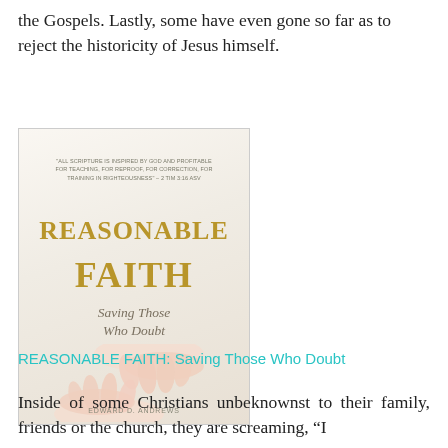the Gospels. Lastly, some have even gone so far as to reject the historicity of Jesus himself.
[Figure (photo): Book cover of 'REASONABLE FAITH: Saving Those Who Doubt' by Edward D. Andrews. Features gold title text on a light background with two hands reaching toward each other, and a scripture quote at the top.]
REASONABLE FAITH: Saving Those Who Doubt
Inside of some Christians unbeknownst to their family, friends or the church, they are screaming, "I